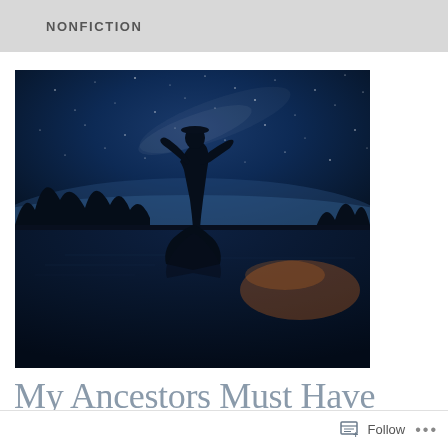NONFICTION
[Figure (photo): Silhouette of a person standing by a reflective lake at night under a starry sky, trees dark in the background, warm orange glow on the horizon reflected in the water]
My Ancestors Must Have Been
Follow ...